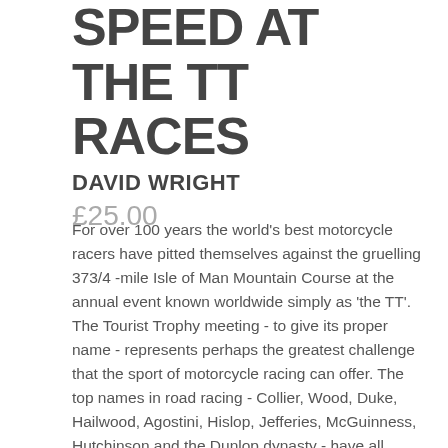SPEED AT THE TT RACES
DAVID WRIGHT
£25.00
For over 100 years the world's best motorcycle racers have pitted themselves against the gruelling 373/4 -mile Isle of Man Mountain Course at the annual event known worldwide simply as 'the TT'. The Tourist Trophy meeting - to give its proper name - represents perhaps the greatest challenge that the sport of motorcycle racing can offer. The top names in road racing - Collier, Wood, Duke, Hailwood, Agostini, Hislop, Jefferies, McGuinness, Hutchinson and the Dunlop dynasty - have all considered the pursuit of a Tourist Trophy to be the ultimate goal. From riding the earliest single-cylinder, belt-driven machines with outputs of under 10bhp, to coping with today's sophisticated four-cylinder machines giving well